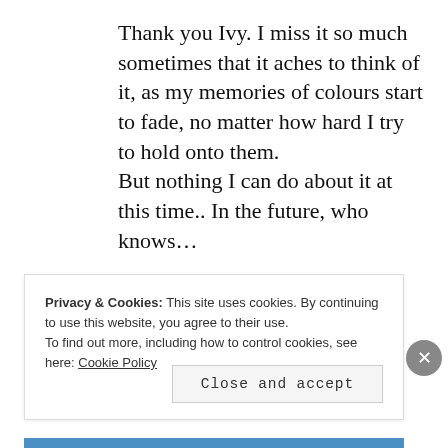Thank you Ivy. I miss it so much sometimes that it aches to think of it, as my memories of colours start to fade, no matter how hard I try to hold onto them.
But nothing I can do about it at this time.. In the future, who knows…
AUGUST 12, 2016 AT 1:41 PM | REPLY
Privacy & Cookies: This site uses cookies. By continuing to use this website, you agree to their use.
To find out more, including how to control cookies, see here: Cookie Policy
Close and accept